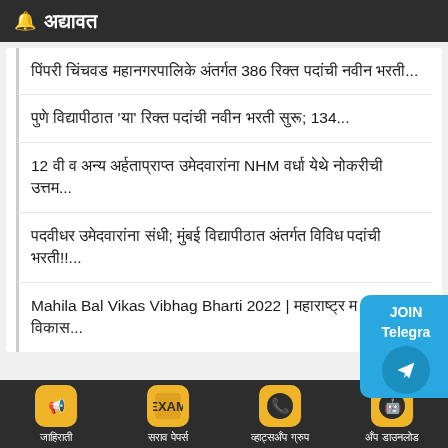🔔 अद्यावत
पिंपरी चिंचवड महानगरपालिके अंतर्गत 386 रिक्त पदांची नवीन भरती...
पुणे विद्यापीठात 'या' रिक्त पदांची नवीन भरती सुरू; 134...
12 वी व अन्य अर्हताप्राप्त उमेदवारांना NHM वर्धा येथे नोकरीची उत्तम...
पदवीधर उमेदवारांना संधी; मुंबई विद्यापीठात अंतर्गत विविध पदांची भरती!!...
Mahila Bal Vikas Vibhag Bharti 2022 | महाराष्ट्र म व बाल विकास...
जाहिराती   सराव पेपर्स   व्हाट्सअँप ग्रुप   अँप डाउनलोड